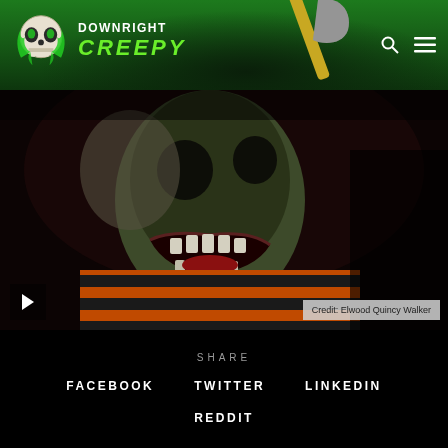DOWNRIGHT CREEPY
[Figure (screenshot): Horror website screenshot showing a clown or monster character with open mouth, wearing orange and black striped clothing, dark background. Credit: Elwood Quincy Walker]
Credit: Elwood Quincy Walker
SHARE
FACEBOOK   TWITTER   LINKEDIN
REDDIT